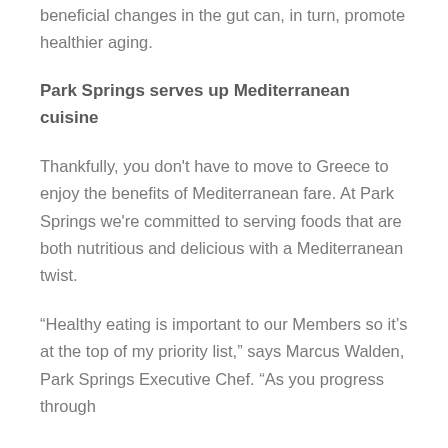beneficial changes in the gut can, in turn, promote healthier aging.
Park Springs serves up Mediterranean cuisine
Thankfully, you don't have to move to Greece to enjoy the benefits of Mediterranean fare. At Park Springs we're committed to serving foods that are both nutritious and delicious with a Mediterranean twist.
“Healthy eating is important to our Members so it’s at the top of my priority list,” says Marcus Walden, Park Springs Executive Chef. “As you progress through